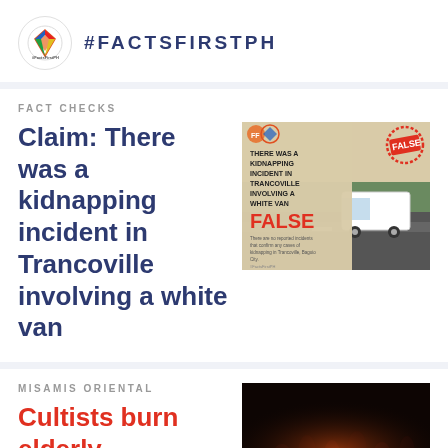#FACTSFIRSTPH
FACT CHECKS
Claim: There was a kidnapping incident in Trancoville involving a white van
[Figure (photo): Fact-check image showing text 'THERE WAS A KIDNAPPING INCIDENT IN TRANCOVILLE INVOLVING A WHITE VAN FALSE' with a stamp FALSE and a white van on a road]
MISAMIS ORIENTAL
Cultists burn elderly in Misamis